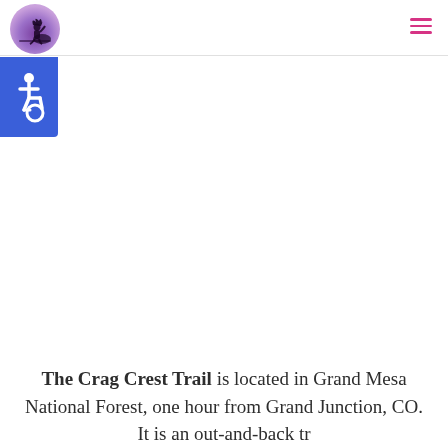Navigation header with logo and hamburger menu
[Figure (logo): Circular purple logo with silhouette figure sitting on a rock against a purple gradient background]
[Figure (infographic): Blue square accessibility icon with wheelchair symbol in white]
The Crag Crest Trail is located in Grand Mesa National Forest, one hour from Grand Junction, CO. It is an out-and-back tr